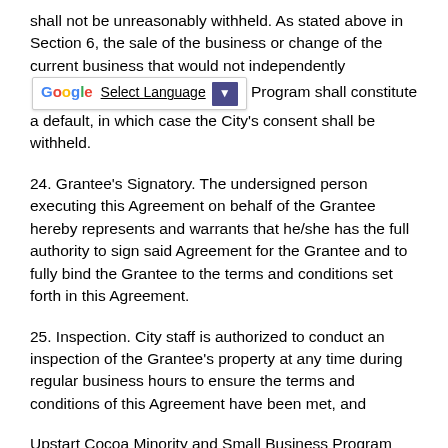shall not be unreasonably withheld. As stated above in Section 6, the sale of the business or change of the current business that would not independently [Select Language] Program shall constitute a default, in which case the City's consent shall be withheld.
24. Grantee's Signatory. The undersigned person executing this Agreement on behalf of the Grantee hereby represents and warrants that he/she has the full authority to sign said Agreement for the Grantee and to fully bind the Grantee to the terms and conditions set forth in this Agreement.
25. Inspection. City staff is authorized to conduct an inspection of the Grantee's property at any time during regular business hours to ensure the terms and conditions of this Agreement have been met, and
Upstart Cocoa Minority and Small Business Program
Forgivable Loan Agreement